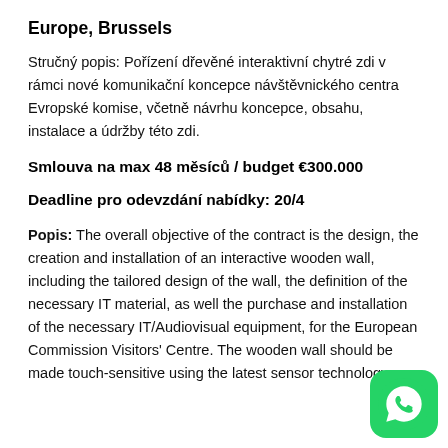Europe, Brussels
Stručný popis: Pořízení dřevěné interaktivní chytré zdi v rámci nové komunikační koncepce návštěvnického centra Evropské komise, včetně návrhu koncepce, obsahu, instalace a údržby této zdi.
Smlouva na max 48 měsíců / budget €300.000
Deadline pro odevzdání nabídky: 20/4
Popis: The overall objective of the contract is the design, the creation and installation of an interactive wooden wall, including the tailored design of the wall, the definition of the necessary IT material, as well the purchase and installation of the necessary IT/Audiovisual equipment, for the European Commission Visitors' Centre. The wooden wall should be made touch-sensitive using the latest sensor technology.